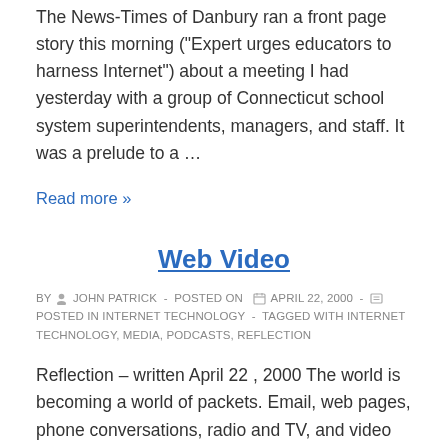The News-Times of Danbury ran a front page story this morning ("Expert urges educators to harness Internet") about a meeting I had yesterday with a group of Connecticut school system superintendents, managers, and staff. It was a prelude to a …
Read more »
Web Video
BY  JOHN PATRICK  -  POSTED ON  APRIL 22, 2000  -  POSTED IN INTERNET TECHNOLOGY  -  TAGGED WITH INTERNET TECHNOLOGY, MEDIA, PODCASTS, REFLECTION
Reflection – written April 22 , 2000 The world is becoming a world of packets. Email, web pages, phone conversations, radio and TV, and video conferencing. Video will soon be thought of as just another data type. We